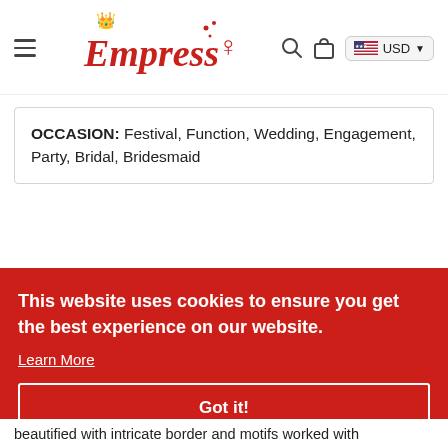Empress — navigation bar with hamburger menu, logo, search icon, cart icon, USD currency selector
OCCASION: Festival, Function, Wedding, Engagement, Party, Bridal, Bridesmaid
[Figure (screenshot): Cookie consent banner overlay on red background section: 'This website uses cookies to ensure you get the best experience on our website. Learn More' with a 'Got it!' button. Behind the banner, partially visible red section with decorative text and partial product description text 'beautified with intricate border and motifs worked with']
beautified with intricate border and motifs worked with